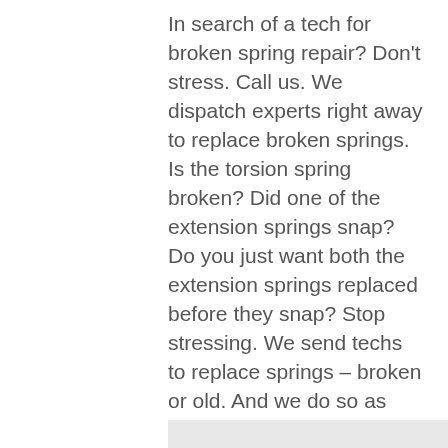In search of a tech for broken spring repair? Don't stress. Call us. We dispatch experts right away to replace broken springs. Is the torsion spring broken? Did one of the extension springs snap? Do you just want both the extension springs replaced before they snap? Stop stressing. We send techs to replace springs – broken or old. And we do so as fast as possible. On top of that, the techs have both the equipment and the skills to replace, setup, and adjust springs. The Rochester garage door springs repair or replacement service is always done proficiently when you turn to us. Why don't you share your spring concerns with us?